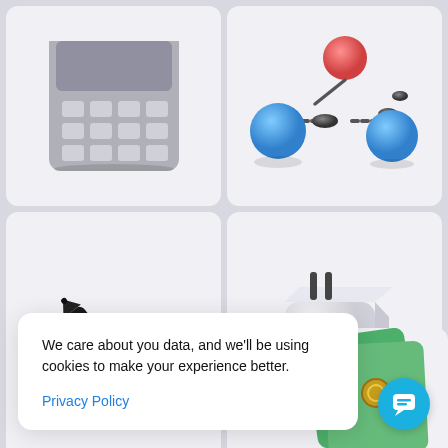[Figure (photo): Partial view of a gray numeric keypad/calculator (3D illustration), top portion visible]
[Figure (illustration): 3D illustration of blue molecule/atom structure with spheres and connecting rods, with a red/pink sphere on top]
[Figure (illustration): 3D illustration of a black stylus/digital pen with purple accent ring, diagonal orientation]
[Figure (illustration): 3D illustration of a white USB/power charger block with two metal prongs]
We care about you data, and we'll be using cookies to make your experience better.
Privacy Policy
[Figure (illustration): Partial view of a green map/card with a key icon, partially obscured by cookie banner]